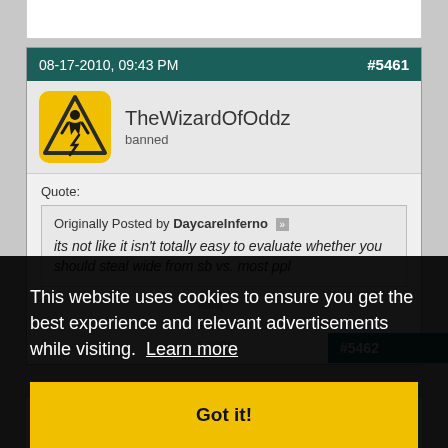08-17-2010, 09:43 PM  #5461
TheWizardOfOddz
banned
Quote:
Originally Posted by DaycareInferno
its not like it isn't totally easy to evaluate whether you should steal wide from sb vs. most ppl
This website uses cookies to ensure you get the best experience and relevant advertisements while visiting.  Learn more
Got it!
#5462
Carpal \Tunnel